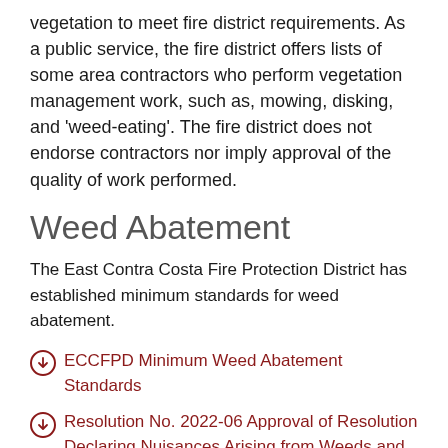vegetation to meet fire district requirements. As a public service, the fire district offers lists of some area contractors who perform vegetation management work, such as, mowing, disking, and 'weed-eating'. The fire district does not endorse contractors nor imply approval of the quality of work performed.
Weed Abatement
The East Contra Costa Fire Protection District has established minimum standards for weed abatement.
ECCFPD Minimum Weed Abatement Standards
Resolution No. 2022-06 Approval of Resolution Declaring Nuisances Arising from Weeds and Adopting 20.pdf
ECCFPD Ordinance 2019-02